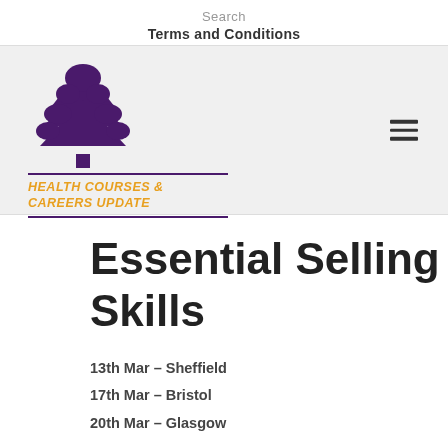Search
Terms and Conditions
[Figure (logo): Health Courses & Careers Update logo with purple tree icon and orange bold italic text on grey banner background with hamburger menu icon on the right]
Essential Selling Skills
13th Mar – Sheffield
17th Mar – Bristol
20th Mar – Glasgow